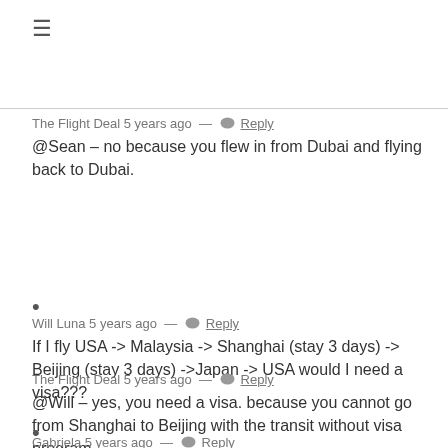≡
The Flight Deal 5 years ago  —  💬 Reply
@Sean – no because you flew in from Dubai and flying back to Dubai.
•
Will Luna 5 years ago  —  💬 Reply
If I fly USA -> Malaysia -> Shanghai (stay 3 days) -> Beijing (stay 3 days) ->Japan -> USA would I need a visa???
The Flight Deal 5 years ago  —  💬 Reply
@Will – yes, you need a visa. because you cannot go from Shanghai to Beijing with the transit without visa program.
•
Gabriela 5 years ago  —  💬 Reply